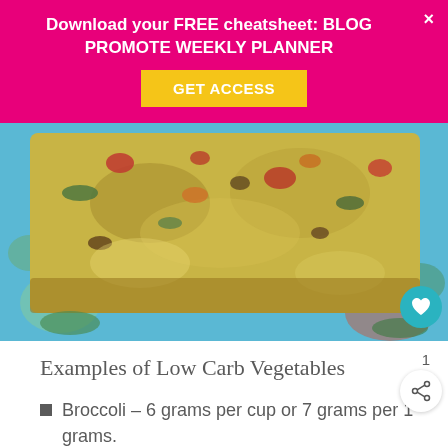Download your FREE cheatsheet: BLOG PROMOTE WEEKLY PLANNER
GET ACCESS
[Figure (photo): Close-up photo of a slice of vegetable frittata or egg bake with colorful vegetables including tomatoes, peppers, and greens on a blue floral plate]
Examples of Low Carb Vegetables
Broccoli – 6 grams per cup or 7 grams per 1 grams.
Tomatoes – 7 grams in a large tomato, or 4 grams per 100 grams.